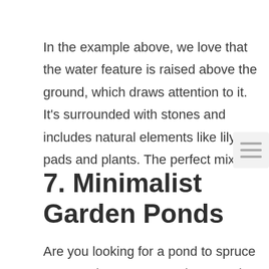In the example above, we love that the water feature is raised above the ground, which draws attention to it. It's surrounded with stones and includes natural elements like lily pads and plants. The perfect mix!
7. Minimalist Garden Ponds
Are you looking for a pond to spruce up a garden area? You don't need the